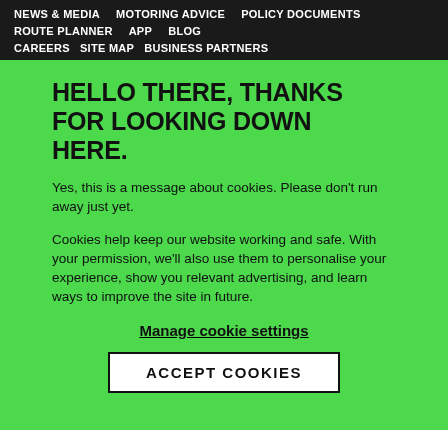NEWS & MEDIA   MOTORING ADVICE   POLICY DOCUMENTS
ROUTE PLANNER   APP   BLOG
CAREERS   SITE MAP   BUSINESS PARTNERS
HELLO THERE, THANKS FOR LOOKING DOWN HERE.
Yes, this is a message about cookies. Please don't run away just yet.
Cookies help keep our website working and safe. With your permission, we'll also use them to personalise your experience, show you relevant advertising, and learn ways to improve the site in future.
Manage cookie settings
ACCEPT COOKIES